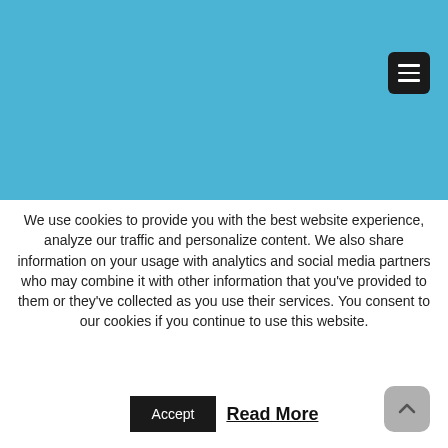[Figure (screenshot): Blue header/navigation area of a website with a dark hamburger menu button in the top right corner]
We use cookies to provide you with the best website experience, analyze our traffic and personalize content. We also share information on your usage with analytics and social media partners who may combine it with other information that you've provided to them or they've collected as you use their services. You consent to our cookies if you continue to use this website.
Accept  Read More